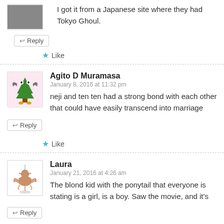I got it from a Japanese site where they had Tokyo Ghoul.
↩ Reply
★ Like
Agito D Muramasa
January 8, 2016 at 11:32 pm
neji and ten ten had a strong bond with each other that could have easily transcend into marriage
↩ Reply
★ Like
Laura
January 21, 2016 at 4:26 am
The blond kid with the ponytail that everyone is stating is a girl, is a boy. Saw the movie, and it's
↩ Reply